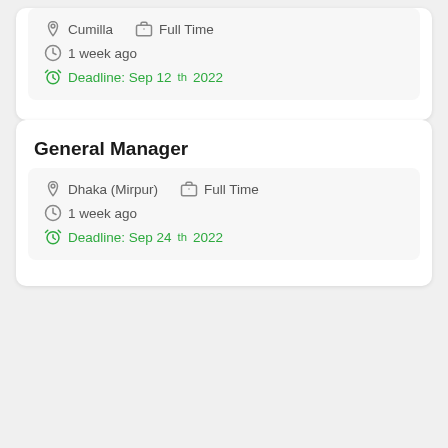Cumilla  Full Time
1 week ago
Deadline: Sep 12th 2022
General Manager
Dhaka (Mirpur)  Full Time
1 week ago
Deadline: Sep 24th 2022